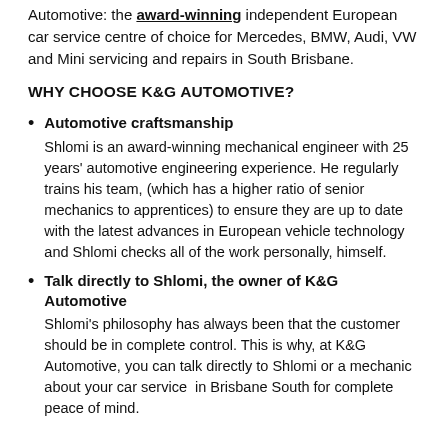Automotive: the award-winning independent European car service centre of choice for Mercedes, BMW, Audi, VW and Mini servicing and repairs in South Brisbane.
WHY CHOOSE K&G AUTOMOTIVE?
Automotive craftsmanship
Shlomi is an award-winning mechanical engineer with 25 years' automotive engineering experience. He regularly trains his team, (which has a higher ratio of senior mechanics to apprentices) to ensure they are up to date with the latest advances in European vehicle technology and Shlomi checks all of the work personally, himself.
Talk directly to Shlomi, the owner of K&G Automotive
Shlomi's philosophy has always been that the customer should be in complete control. This is why, at K&G Automotive, you can talk directly to Shlomi or a mechanic about your car service in Brisbane South for complete peace of mind.